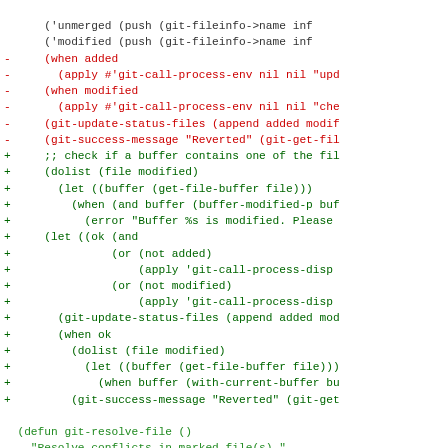[Figure (screenshot): Code diff view showing removed lines in red and added lines in green, followed by a function definition in green monospace font.]